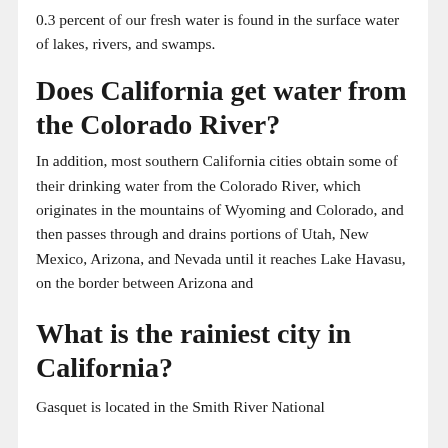0.3 percent of our fresh water is found in the surface water of lakes, rivers, and swamps.
Does California get water from the Colorado River?
In addition, most southern California cities obtain some of their drinking water from the Colorado River, which originates in the mountains of Wyoming and Colorado, and then passes through and drains portions of Utah, New Mexico, Arizona, and Nevada until it reaches Lake Havasu, on the border between Arizona and
What is the rainiest city in California?
Gasquet is located in the Smith River National